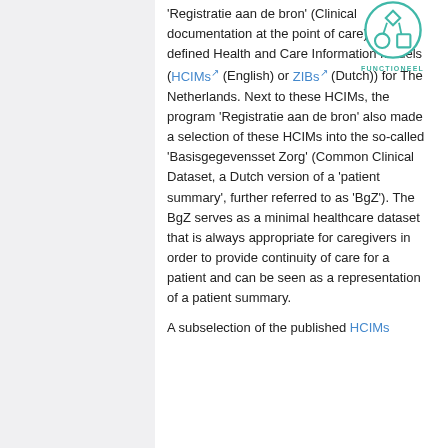[Figure (illustration): A teal/green circular icon showing a network/flowchart diagram with diamond, circle, and square shapes connected by lines. Below the icon is the label 'FUNCTIONEEL' in teal capital letters.]
'Registratie aan de bron' (Clinical documentation at the point of care) has defined Health and Care Information models (HCIMs (English) or ZIBs (Dutch)) for The Netherlands. Next to these HCIMs, the program 'Registratie aan de bron' also made a selection of these HCIMs into the so-called 'Basisgegevensset Zorg' (Common Clinical Dataset, a Dutch version of a 'patient summary', further referred to as 'BgZ'). The BgZ serves as a minimal healthcare dataset that is always appropriate for caregivers in order to provide continuity of care for a patient and can be seen as a representation of a patient summary.
A subselection of the published HCIMs